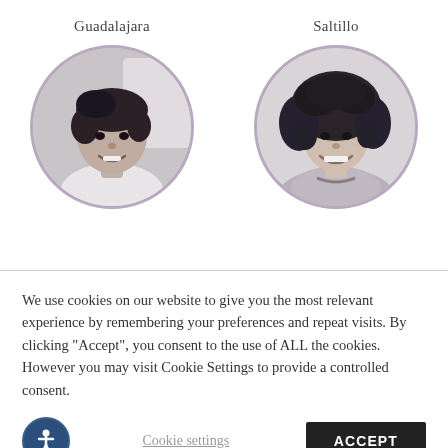Guadalajara
[Figure (photo): Black and white circular portrait photo of a man smiling, labeled Guadalajara]
Saltillo
[Figure (photo): Black and white circular portrait photo of a woman with curly hair smiling, labeled Saltillo]
We use cookies on our website to give you the most relevant experience by remembering your preferences and repeat visits. By clicking "Accept", you consent to the use of ALL the cookies. However you may visit Cookie Settings to provide a controlled consent.
Cookie settings
ACCEPT